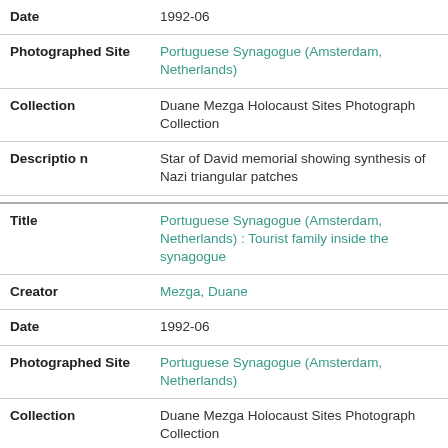| Field | Value |
| --- | --- |
| Date | 1992-06 |
| Photographed Site | Portuguese Synagogue (Amsterdam, Netherlands) |
| Collection | Duane Mezga Holocaust Sites Photograph Collection |
| Description | Star of David memorial showing synthesis of Nazi triangular patches |
| Title | Portuguese Synagogue (Amsterdam, Netherlands) : Tourist family inside the synagogue |
| Creator | Mezga, Duane |
| Date | 1992-06 |
| Photographed Site | Portuguese Synagogue (Amsterdam, Netherlands) |
| Collection | Duane Mezga Holocaust Sites Photograph Collection |